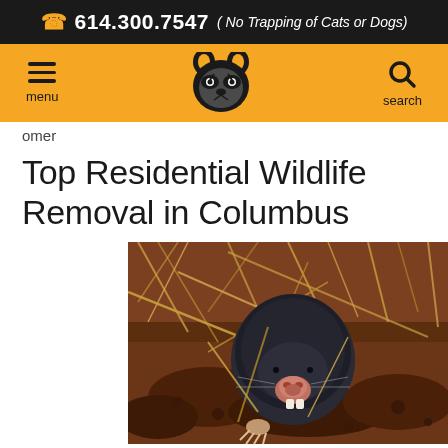614.300.7547 ( No Trapping of Cats or Dogs)
[Figure (other): Navigation bar with hamburger menu, raccoon logo, and search icon on golden/amber background]
omer
Top Residential Wildlife Removal in Columbus
[Figure (photo): Close-up photo of a mole emerging from the ground, surrounded by dark soil and dry grass/straw]